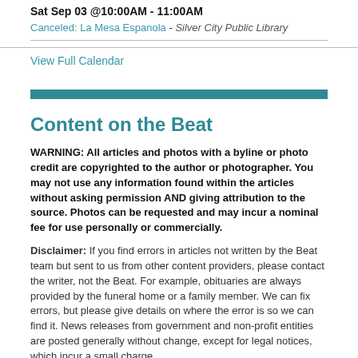Sat Sep 03 @10:00AM - 11:00AM
Canceled: La Mesa Espanola - Silver City Public Library
View Full Calendar
Content on the Beat
WARNING: All articles and photos with a byline or photo credit are copyrighted to the author or photographer. You may not use any information found within the articles without asking permission AND giving attribution to the source. Photos can be requested and may incur a nominal fee for use personally or commercially.
Disclaimer: If you find errors in articles not written by the Beat team but sent to us from other content providers, please contact the writer, not the Beat. For example, obituaries are always provided by the funeral home or a family member. We can fix errors, but please give details on where the error is so we can find it. News releases from government and non-profit entities are posted generally without change, except for legal notices, which incur a small charge.
NOTE: If an article does not have a byline, it was written by someone